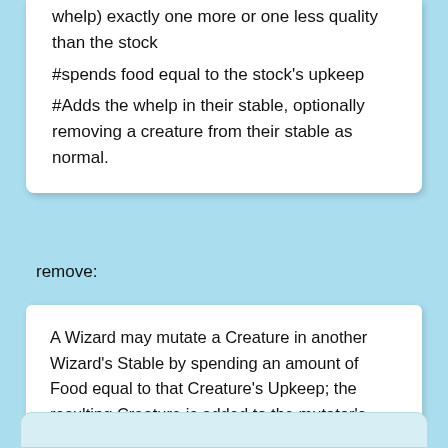whelp) exactly one more or one less quality than the stock
#spends food equal to the stock's upkeep
#Adds the whelp in their stable, optionally removing a creature from their stable as normal.
remove:
A Wizard may mutate a Creature in another Wizard's Stable by spending an amount of Food equal to that Creature's Upkeep; the resulting Creature is added to the mutator's own Stable.